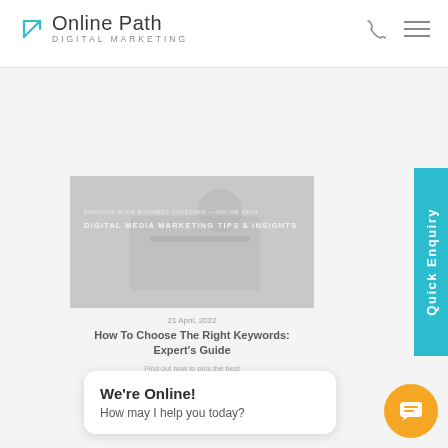[Figure (logo): Online Path Digital Marketing logo with teal arrow icon]
[Figure (screenshot): Website screenshot showing a blog page with a featured image of person typing, blog post titled 'How To Choose The Right Keywords: Expert's Guide', a Quick Enquiry teal sidebar tab, and a live chat popup 'We're Online! How may I help you today?' with orange chat icon]
We're Online!
How may I help you today?